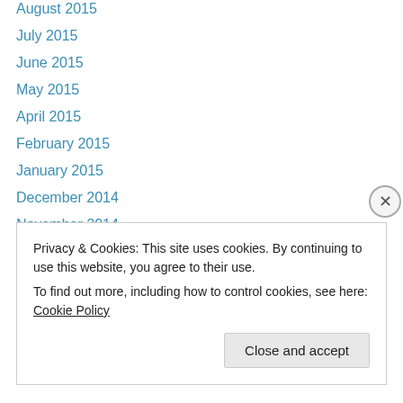August 2015
July 2015
June 2015
May 2015
April 2015
February 2015
January 2015
December 2014
November 2014
October 2014
September 2014
August 2014
July 2014
Privacy & Cookies: This site uses cookies. By continuing to use this website, you agree to their use.
To find out more, including how to control cookies, see here: Cookie Policy
Close and accept